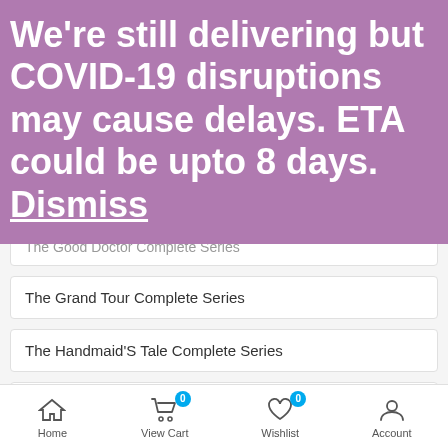We're still delivering but COVID-19 disruptions may cause delays. ETA could be upto 8 days. Dismiss
The Good Doctor Complete Series
The Grand Tour Complete Series
The Handmaid'S Tale Complete Series
The Magicians Complete Series
The Punisher Complete Series
The Rookie Complete Series
Home | View Cart 0 | Wishlist 0 | Account